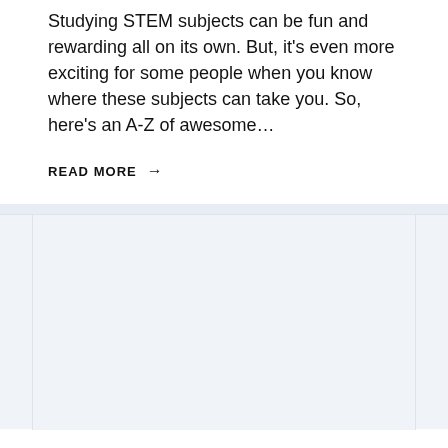Studying STEM subjects can be fun and rewarding all on its own. But, it's even more exciting for some people when you know where these subjects can take you. So, here's an A-Z of awesome…
READ MORE →